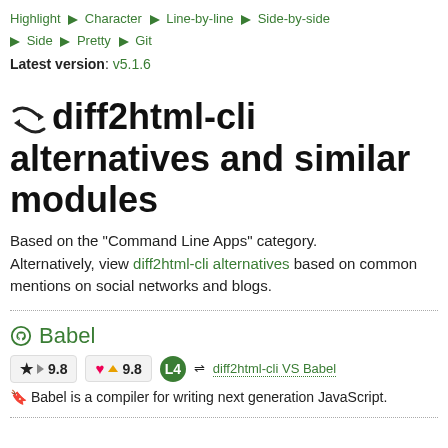Highlight ♦ Character ♦ Line-by-line ♦ Side-by-side ♦ Side ♦ Pretty ♦ Git
Latest version: v5.1.6
⇄ diff2html-cli alternatives and similar modules
Based on the "Command Line Apps" category. Alternatively, view diff2html-cli alternatives based on common mentions on social networks and blogs.
Babel
★ ▶ 9.8   ♥ ▲ 9.8   L4   ⇄ diff2html-cli VS Babel
🔍 Babel is a compiler for writing next generation JavaScript.